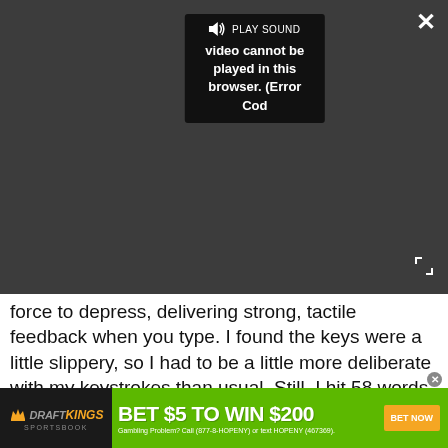[Figure (screenshot): Video player overlay showing dark background with PLAY SOUND button and error message 'video cannot be played in this browser. (Error Cod' with close and expand buttons]
force to depress, delivering strong, tactile feedback when you type. I found the keys were a little slippery, so I had to be a little more deliberate with my keystrokes than usual. Still, I hit 58 words per minute on the Ten Thumbs Typing Test, which is higher than my normal 55 wpm.
[Figure (photo): Close-up photograph of laptop keyboard bottom row showing keys: Z, X, C, V, B, N, M, comma, period, slash, and bottom row with FN, Windows, ALT, spacebar, ALT, menu, CTRL, backspace]
[Figure (screenshot): DraftKings Sportsbook advertisement banner: BET $5 TO WIN $200, BET NOW button, Gambling Problem? Call (877-8-HOPENY) or text HOPENY (467369).]